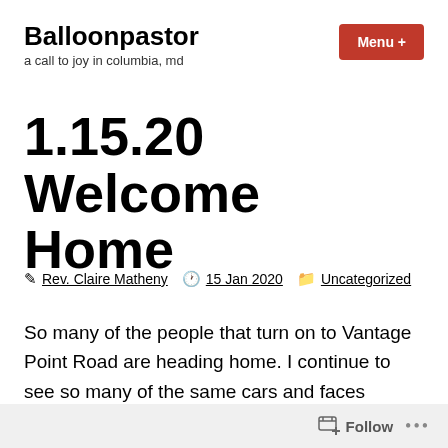Balloonpastor — a call to joy in columbia, md
1.15.20 Welcome Home
Rev. Claire Matheny  15 Jan 2020  Uncategorized
So many of the people that turn on to Vantage Point Road are heading home. I continue to see so many of the same cars and faces making the turn ready to arrive home at the end of a long day, transporting their kids back and forth, and jetting off to the next destination. I have a wave that
Follow ...